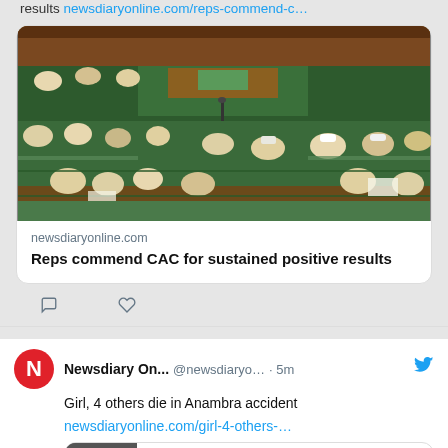results newsdiaryonline.com/reps-commend-c…
[Figure (photo): Photo of Nigerian House of Representatives chamber filled with lawmakers in session]
newsdiaryonline.com
Reps commend CAC for sustained positive results
Newsdiary On... @newsdiaryо… · 5m
Girl, 4 others die in Anambra accident
newsdiaryonline.com/girl-4-others-…
[Figure (photo): Thumbnail photo for Anambra accident article]